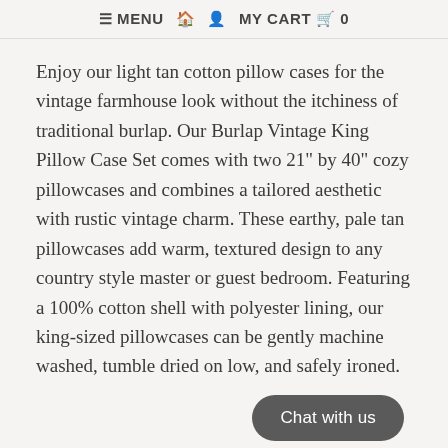≡ MENU  🏠  👤  MY CART  🛒  0
Enjoy our light tan cotton pillow cases for the vintage farmhouse look without the itchiness of traditional burlap. Our Burlap Vintage King Pillow Case Set comes with two 21" by 40" cozy pillowcases and combines a tailored aesthetic with rustic vintage charm. These earthy, pale tan pillowcases add warm, textured design to any country style master or guest bedroom. Featuring a 100% cotton shell with polyester lining, our king-sized pillowcases can be gently machine washed, tumble dried on low, and safely ironed.
Features
PREMIUM CONSTRUCTION with...